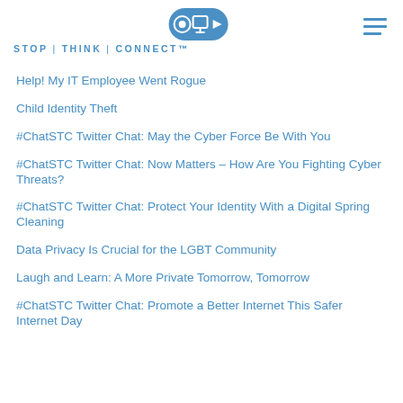STOP | THINK | CONNECT™
Help! My IT Employee Went Rogue
Child Identity Theft
#ChatSTC Twitter Chat: May the Cyber Force Be With You
#ChatSTC Twitter Chat: Now Matters – How Are You Fighting Cyber Threats?
#ChatSTC Twitter Chat: Protect Your Identity With a Digital Spring Cleaning
Data Privacy Is Crucial for the LGBT Community
Laugh and Learn: A More Private Tomorrow, Tomorrow
#ChatSTC Twitter Chat: Promote a Better Internet This Safer Internet Day